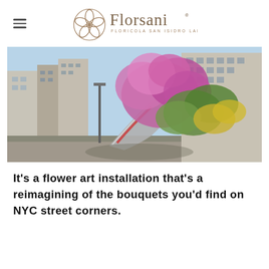Florsani — Floricola San Isidro Labrador
[Figure (photo): Outdoor street scene in New York City showing a large-scale flower art installation — a giant bouquet of colorful pink, purple, and yellow flowers cascading onto the sidewalk, with NYC buildings and traffic in the background under a blue sky.]
It's a flower art installation that's a reimagining of the bouquets you'd find on NYC street corners.